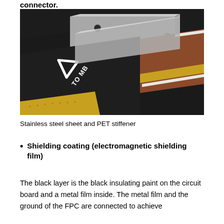connector.
[Figure (photo): Close-up photograph of an FPC (Flexible Printed Circuit) showing a stainless steel sheet and PET stiffener layered on a black flexible circuit board with gold and brown colored layers visible]
Stainless steel sheet and PET stiffener
Shielding coating (electromagnetic shielding film)
The black layer is the black insulating paint on the circuit board and a metal film inside. The metal film and the ground of the FPC are connected to achieve